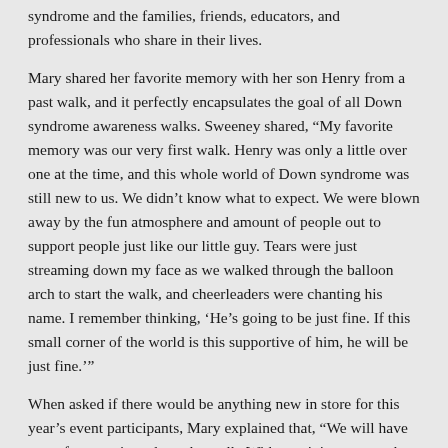syndrome and the families, friends, educators, and professionals who share in their lives.
Mary shared her favorite memory with her son Henry from a past walk, and it perfectly encapsulates the goal of all Down syndrome awareness walks. Sweeney shared, "My favorite memory was our very first walk. Henry was only a little over one at the time, and this whole world of Down syndrome was still new to us. We didn't know what to expect. We were blown away by the fun atmosphere and amount of people out to support people just like our little guy. Tears were just streaming down my face as we walked through the balloon arch to start the walk, and cheerleaders were chanting his name. I remember thinking, 'He's going to be just fine. If this small corner of the world is this supportive of him, he will be just fine.'"
When asked if there would be anything new in store for this year's event participants, Mary explained that, "We will have more fun surprises along the walk. Without giving too much away, we'll just say it will be 'entertaining' as people walk the mile-long route." We cannot wait to see the exciting things in store for everyone at the 18th annual DSAF of Nebraska Step